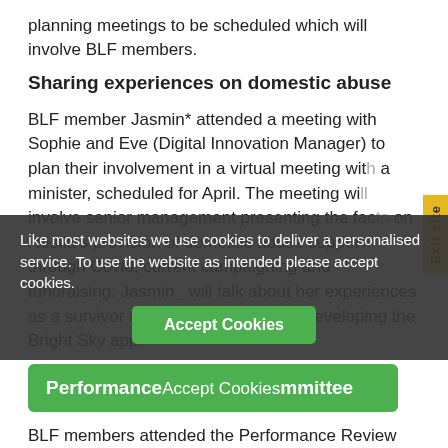planning meetings to be scheduled which will involve BLF members.
Sharing experiences on domestic abuse
BLF member Jasmin* attended a meeting with Sophie and Eve (Digital Innovation Manager) to plan their involvement in a virtual meeting with a minister, scheduled for April. The meeting will involve senior management presenting the facts on Hestia's provision of domestic abuse support through Covid, current campaigning and fundraising. Jasmin will talk about her experiences as a survivor and her involvement in developing the Bright Sky app.
Performance and Audit Committee
BLF members attended the Performance Review
Like most websites we use cookies to deliver a personalised service. To use the website as intended please accept cookies.